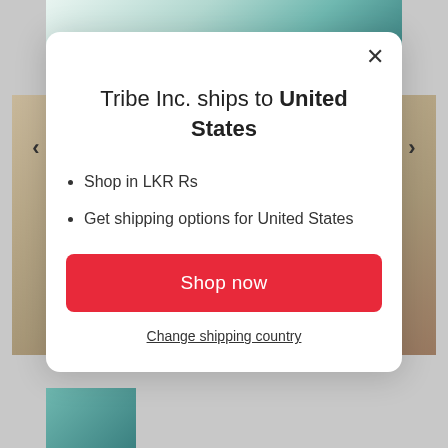[Figure (screenshot): E-commerce website background showing a model photo and navigation arrows]
Tribe Inc. ships to United States
Shop in LKR Rs
Get shipping options for United States
Shop now
Change shipping country